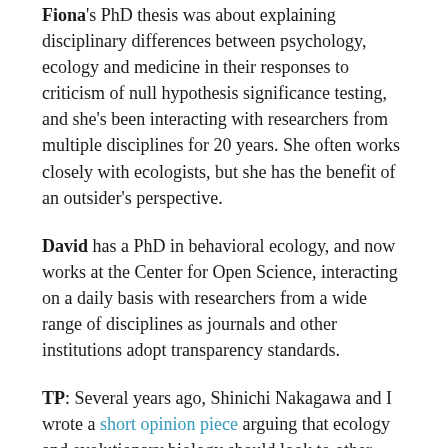Fiona's PhD thesis was about explaining disciplinary differences between psychology, ecology and medicine in their responses to criticism of null hypothesis significance testing, and she's been interacting with researchers from multiple disciplines for 20 years. She often works closely with ecologists, but she has the benefit of an outsider's perspective.
David has a PhD in behavioral ecology, and now works at the Center for Open Science, interacting on a daily basis with researchers from a wide range of disciplines as journals and other institutions adopt transparency standards.
TP: Several years ago, Shinichi Nakagawa and I wrote a short opinion piece arguing that ecology and evolutionary biology should look to other disciplines for ideas to reduce bias and improve the reliability of our published literature. We had become convinced that bias was common in the literature. Evidence of bias was stacking up in other disciplines as well,